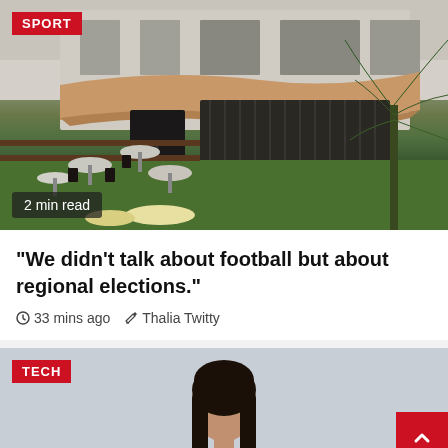[Figure (photo): Outdoor restaurant/cafe terrace with tables, chairs, stone building facade, awning, and palm-like plant. SPORT badge in top-left corner. '2 min read' overlay at bottom-left.]
“We didn’t talk about football but about regional elections.”
33 mins ago   Thalia Twitty
[Figure (photo): Person with dark shoulder-length hair, face partially visible, against light blue-grey background. TECH badge in top-left corner.]